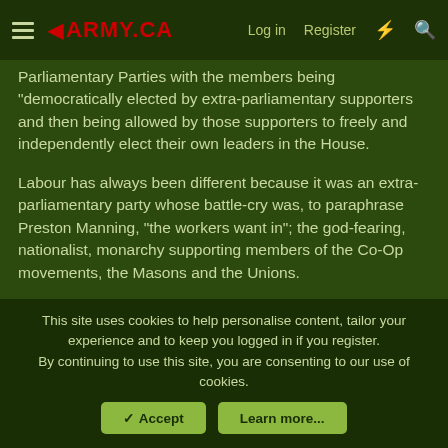ARMY.CA | Log in | Register
Parliamentary Parties with the members being "democratically elected by extra-parliamentary supporters and then being allowed by those supporters to freely and independently elect their own leaders in the House.
Labour has always been different because it was an extra-parliamentary party whose battle-cry was, to paraphrase Preston Manning, "the workers want in"; the god-fearing, nationalist, monarchy supporting members of the Co-Op movements, the Masons and the Unions.
That has always produced a tension between the Parliamentary Party, forced to abide by the traditions of the House, and the Extra-Parliamentary Party, demanding that their voices be heard, and their opinions directly reflected, in the House.
This site uses cookies to help personalise content, tailor your experience and to keep you logged in if you register.
By continuing to use this site, you are consenting to our use of cookies.